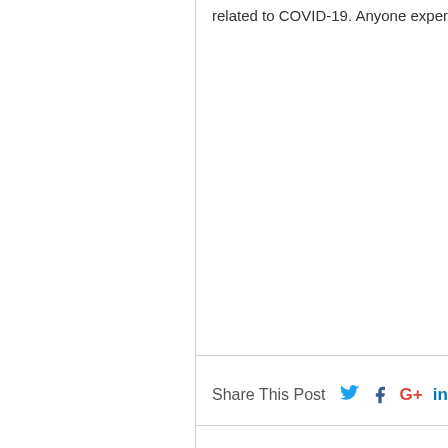related to COVID-19. Anyone experien
Share This Post
You might also like: